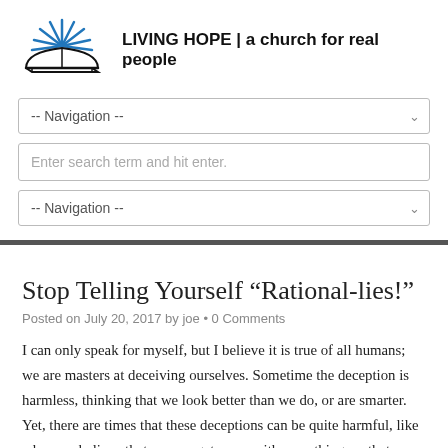LIVING HOPE | a church for real people
[Figure (logo): Open book logo with blue rays/lines emanating upward from the spine, black book outline on a horizontal line]
Stop Telling Yourself “Rational-lies!”
Posted on July 20, 2017 by joe • 0 Comments
I can only speak for myself, but I believe it is true of all humans; we are masters at deceiving ourselves. Sometime the deception is harmless, thinking that we look better than we do, or are smarter. Yet, there are times that these deceptions can be quite harmful, like when we believe that we can get away with something, or that our